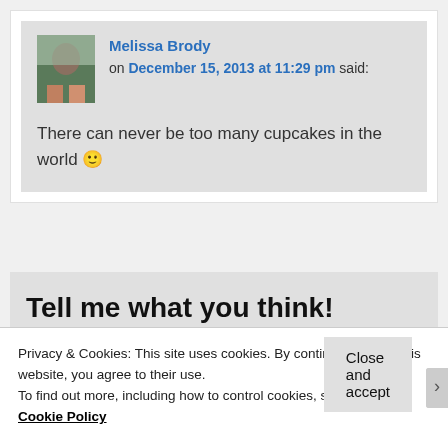Melissa Brody on December 15, 2013 at 11:29 pm said:
There can never be too many cupcakes in the world 🙂
Tell me what you think!
Privacy & Cookies: This site uses cookies. By continuing to use this website, you agree to their use.
To find out more, including how to control cookies, see here:
Cookie Policy
Close and accept